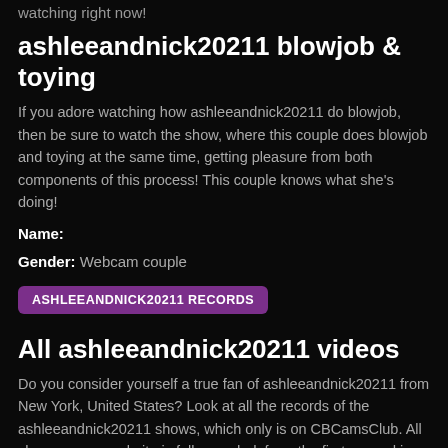watching right now!
ashleeandnick20211 blowjob & toying
If you adore watching how ashleeandnick20211 do blowjob, then be sure to watch the show, where this couple does blowjob and toying at the same time, getting pleasure from both components of this process! This couple knows what she's doing!
Name:
Gender: Webcam couple
ASHLEEANDNICK20211 RECORDS
All ashleeandnick20211 videos
Do you consider yourself a true fan of ashleeandnick20211 from New York, United States? Look at all the records of the ashleeandnick20211 shows, which only is on CBCamsClub. All shows on our website is full-recorded, from the first second in online and strictly to the end of the perfomance. Register on our website and get unlimited access to all the videos of all webcams models on